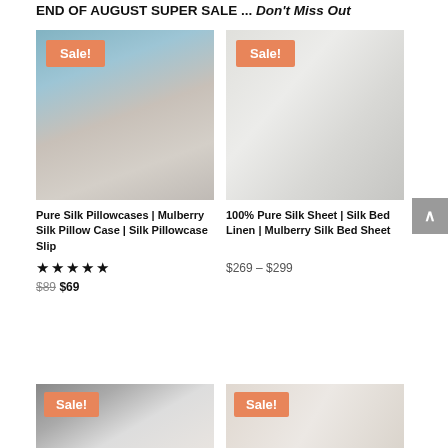END OF AUGUST SUPER SALE ... Don't Miss Out
[Figure (photo): Woman lying on blue silk pillowcase with Sale! badge]
[Figure (photo): White silk bed sheets on bed near window with Sale! badge]
Pure Silk Pillowcases | Mulberry Silk Pillow Case | Silk Pillowcase Slip
100% Pure Silk Sheet | Silk Bed Linen | Mulberry Silk Bed Sheet
★★★★★
$89 $69
$269 – $299
[Figure (photo): Silk pillow product with Sale! badge, bottom left]
[Figure (photo): Silk sheet product with Sale! badge, bottom right]